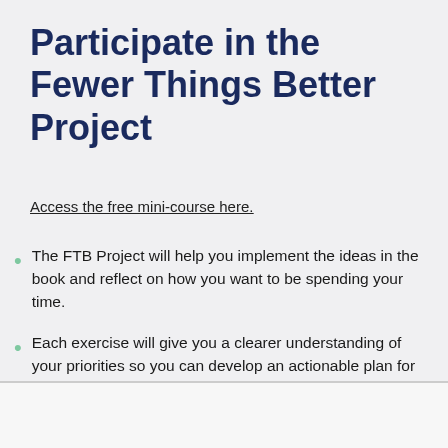Participate in the Fewer Things Better Project
Access the free mini-course here.
The FTB Project will help you implement the ideas in the book and reflect on how you want to be spending your time.
Each exercise will give you a clearer understanding of your priorities so you can develop an actionable plan for what “fewer things, better” looks like in YOUR life.